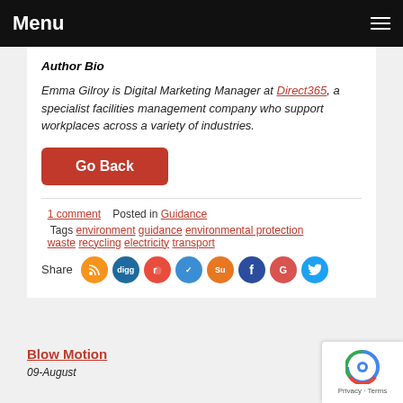Menu
Author Bio
Emma Gilroy is Digital Marketing Manager at Direct365, a specialist facilities management company who support workplaces across a variety of industries.
Go Back
1 comment   Posted in Guidance   Tags environment guidance environmental protection waste recycling electricity transport
Share
Blow Motion
09-August